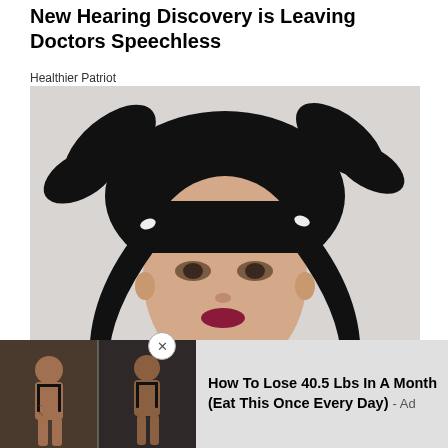New Hearing Discovery is Leaving Doctors Speechless
Healthier Patriot
[Figure (photo): Portrait photo of a woman with black hair in two pigtails, heavy bangs, dark lipstick, wearing a black top, against a light grey background.]
[Figure (photo): Advertisement overlay showing two back-view photos of a woman in a black bra before and after weight loss transformation.]
How To Lose 40.5 Lbs In A Month (Eat This Once Every Day) - Ad